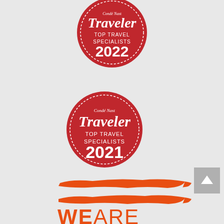[Figure (logo): Condé Nast Traveler Top Travel Specialists 2022 badge — red circular badge with white text and dashed border]
[Figure (logo): Condé Nast Traveler Top Travel Specialists 2021 badge — red circular badge with white text and dashed border]
[Figure (logo): WeAre logo — two orange brush-stroke horizontal bars above orange bold text WEARE]
[Figure (other): Gray scroll-to-top button with upward arrow]